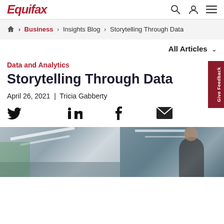Equifax
Home > Business > Insights Blog > Storytelling Through Data
All Articles
Data and Analytics
Storytelling Through Data
April 26, 2021 | Tricia Gabberty
[Figure (photo): Two-panel photo strip showing a retail/warehouse interior on the left and a woman in an office or store setting on the right.]